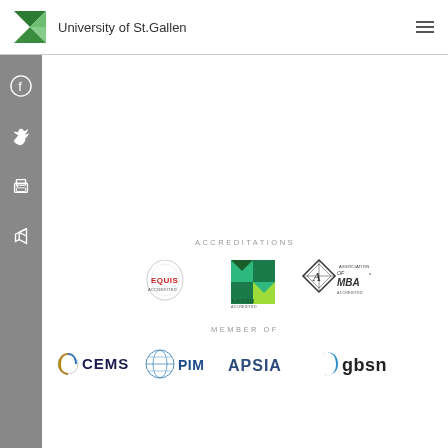University of St. Gallen
[Figure (logo): University of St. Gallen logo with green star/arrow symbol]
[Figure (other): Side social share bar with Facebook, Twitter, Print, Share icons]
ACCREDITATIONS
[Figure (logo): EQUIS Accredited logo]
[Figure (logo): AACSB Accredited logo]
[Figure (logo): Association of MBAs Accredited logo]
MEMBER OF
[Figure (logo): CEMS logo]
[Figure (logo): PIM logo]
[Figure (logo): APSIA logo]
[Figure (logo): gbsn logo]